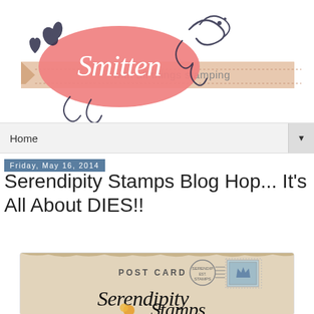[Figure (logo): Smitten with all things stamping blog logo — pink scalloped oval with Smitten in script, decorative flourishes, banner reading 'with all things stamping']
Home
Friday, May 16, 2014
Serendipity Stamps Blog Hop... It's All About DIES!!
[Figure (photo): Serendipity Stamps postcard image on aged/parchment background with POST CARD text, stamp, postmark, and Serendipity Stamps script logo]